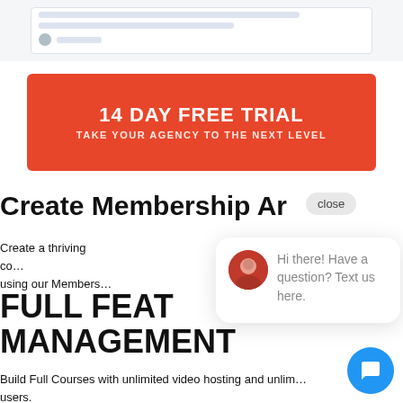[Figure (screenshot): Top portion of a web browser/UI screenshot showing a form-like interface with lines of text and a small avatar row]
[Figure (infographic): Red CTA banner reading '14 DAY FREE TRIAL' and 'TAKE YOUR AGENCY TO THE NEXT LEVEL']
Create Membership Ar
Create a thriving co… by using our Members…
[Figure (other): Chat popup widget with avatar photo and text 'Hi there! Have a question? Text us here.' and blue chat FAB button]
FULL FEAT MANAGEMENT
Build Full Courses with unlimited video hosting and unlim… users.